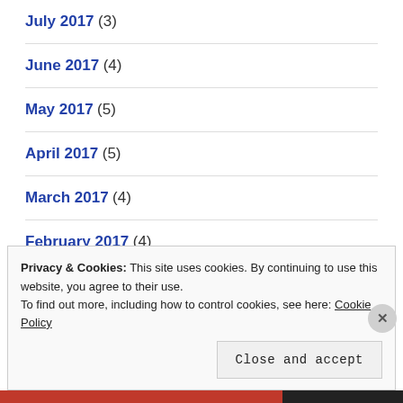July 2017 (3)
June 2017 (4)
May 2017 (5)
April 2017 (5)
March 2017 (4)
February 2017 (4)
January 2017 (4)
Privacy & Cookies: This site uses cookies. By continuing to use this website, you agree to their use. To find out more, including how to control cookies, see here: Cookie Policy
Close and accept